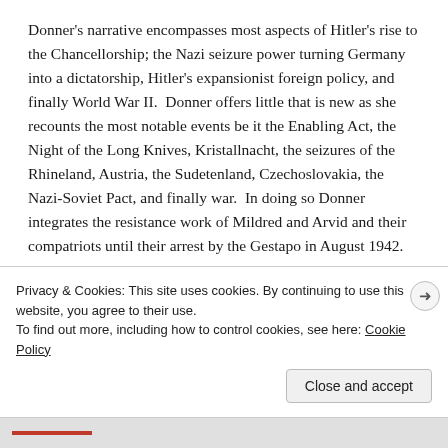Donner's narrative encompasses most aspects of Hitler's rise to the Chancellorship; the Nazi seizure power turning Germany into a dictatorship, Hitler's expansionist foreign policy, and finally World War II.  Donner offers little that is new as she recounts the most notable events be it the Enabling Act, the Night of the Long Knives, Kristallnacht, the seizures of the Rhineland, Austria, the Sudetenland, Czechoslovakia, the Nazi-Soviet Pact, and finally war.  In doing so Donner integrates the resistance work of Mildred and Arvid and their compatriots until their arrest by the Gestapo in August 1942.
Privacy & Cookies: This site uses cookies. By continuing to use this website, you agree to their use.
To find out more, including how to control cookies, see here: Cookie Policy